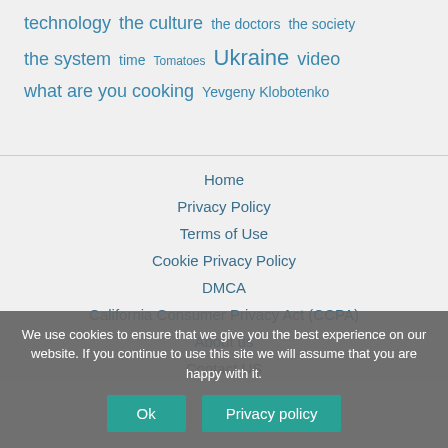technology the culture the doctors the society the system time Tomatoes Ukraine video what are you cooking Yevgeny Klobotenko
Home
Privacy Policy
Terms of Use
Cookie Privacy Policy
DMCA
California Consumer Privacy Act (CCPA)
About us
Contact US
We use cookies to ensure that we give you the best experience on our website. If you continue to use this site we will assume that you are happy with it.
Ok  Privacy policy